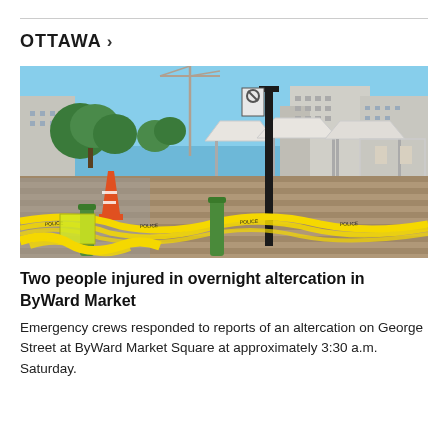OTTAWA >
[Figure (photo): Outdoor urban plaza scene at ByWard Market in Ottawa. Yellow police tape is strung across the foreground around green bollards and a lamp post. White canopy structures (market stalls) are visible in the background along with trees, buildings, and a construction crane on a sunny day.]
Two people injured in overnight altercation in ByWard Market
Emergency crews responded to reports of an altercation on George Street at ByWard Market Square at approximately 3:30 a.m. Saturday.